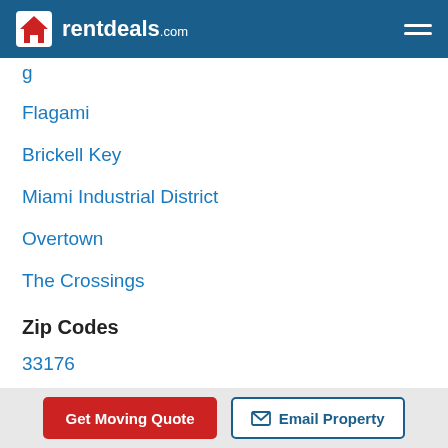rentdeals.com
Flagami
Brickell Key
Miami Industrial District
Overtown
The Crossings
Zip Codes
33176
33015
33172
33125
Get Moving Quote | Email Property